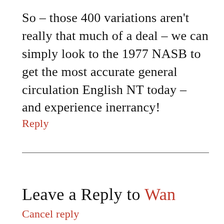So – those 400 variations aren't really that much of a deal – we can simply look to the 1977 NASB to get the most accurate general circulation English NT today – and experience inerrancy!
Reply
Leave a Reply to Wan
Cancel reply